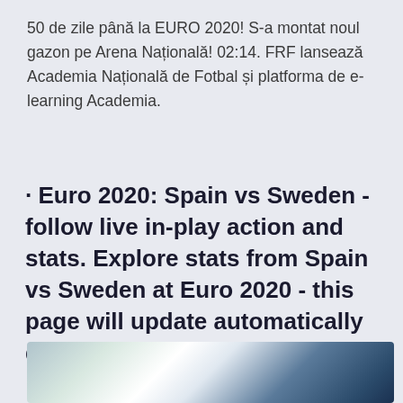50 de zile până la EURO 2020! S-a montat noul gazon pe Arena Națională! 02:14. FRF lansează Academia Națională de Fotbal și platforma de e-learning Academia.
· Euro 2020: Spain vs Sweden - follow live in-play action and stats. Explore stats from Spain vs Sweden at Euro 2020 - this page will update automatically during the game
[Figure (photo): Blurred close-up photo of a football/soccer ball, showing a white and blue blurred background]